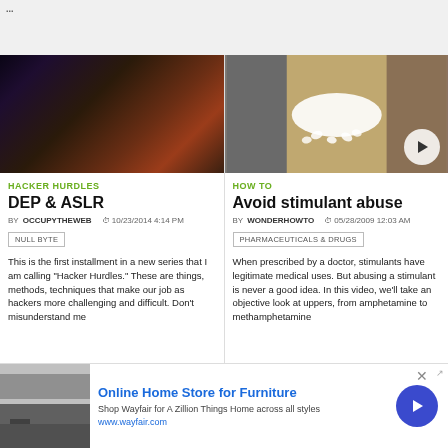...
[Figure (photo): Two people in dark moody lighting, a woman and a man looking serious]
HACKER HURDLES
DEP & ASLR
BY OCCUPYTHEWEB  10/23/2014 4:14 PM
NULL BYTE
This is the first installment in a new series that I am calling "Hacker Hurdles." These are things, methods, techniques that make our job as hackers more challenging and difficult. Don't misunderstand me
[Figure (photo): Pile of white powder and pills on a brown surface, with a video play button overlay]
HOW TO
Avoid stimulant abuse
BY WONDERHOWTO  05/28/2009 12:03 AM
PHARMACEUTICALS & DRUGS
When prescribed by a doctor, stimulants have legitimate medical uses. But abusing a stimulant is never a good idea. In this video, we'll take an objective look at uppers, from amphetamine to methamphetamine
Online Home Store for Furniture
Shop Wayfair for A Zillion Things Home across all styles
www.wayfair.com